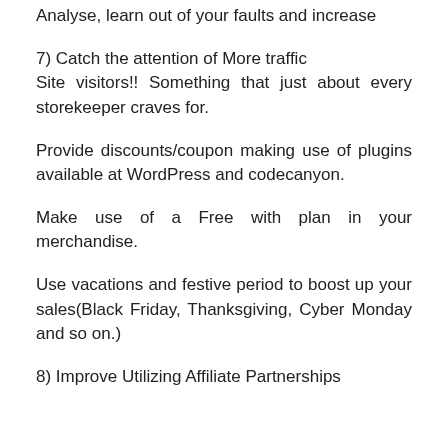Analyse, learn out of your faults and increase
7) Catch the attention of More traffic
Site visitors!! Something that just about every storekeeper craves for.
Provide discounts/coupon making use of plugins available at WordPress and codecanyon.
Make use of a Free with plan in your merchandise.
Use vacations and festive period to boost up your sales(Black Friday, Thanksgiving, Cyber Monday and so on.)
8) Improve Utilizing Affiliate Partnerships